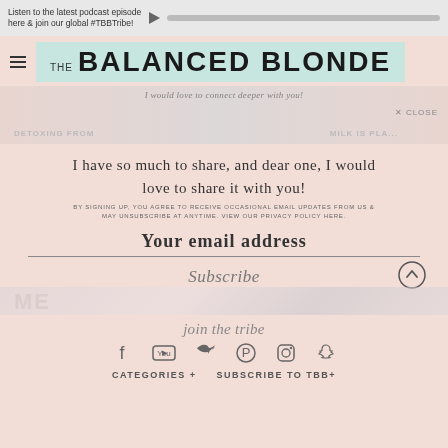Listen to the latest podcast episode here & join our global #TBBTribe!
[Figure (logo): The Balanced Blonde logo with mint green background]
[Figure (illustration): Blurred blog post images with handwritten overlay text 'I would love to connect deeper with you!' and blog post labels 'DETOXING FROM' and 'MILK IS PLA...']
I have so much to share, and dear one, I would love to share it with you!
BY SIGNING UP, YOU AGREE TO RECEIVE OCCASIONAL EMAIL UPDATES FROM US & MAY UNSUBSCRIBE AT ANYTIME. VIEW OUR PRIVACY POLICY HERE.
Your email address
Subscribe
join the tribe
CATEGORIES + SUBSCRIBE TO TBB+